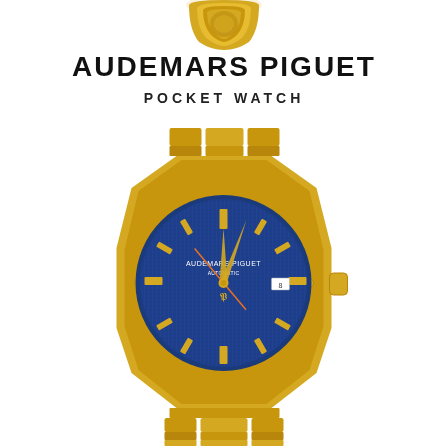[Figure (photo): Partial view of a gold Audemars Piguet pocket watch crown/top at the top of the page]
AUDEMARS PIGUET
POCKET WATCH
[Figure (photo): Audemars Piguet Royal Oak wristwatch in yellow gold with blue tapisserie dial and integrated gold bracelet]